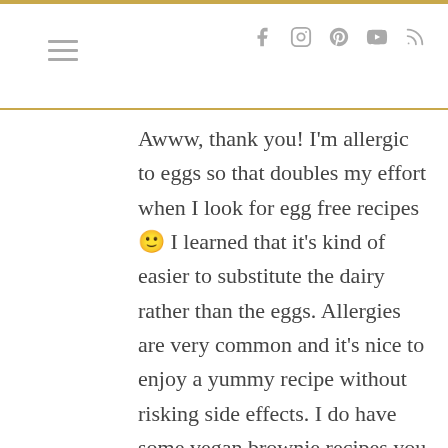≡  f  ◻  ℗  ▶  )
Awww, thank you! I'm allergic to eggs so that doubles my effort when I look for egg free recipes 🙂 I learned that it's kind of easier to substitute the dairy rather than the eggs. Allergies are very common and it's nice to enjoy a yummy recipe without risking side effects. I do have some vegan brownie recipes you might want to try. The avocado brownies are fudgy https://www.buonapappa.net/